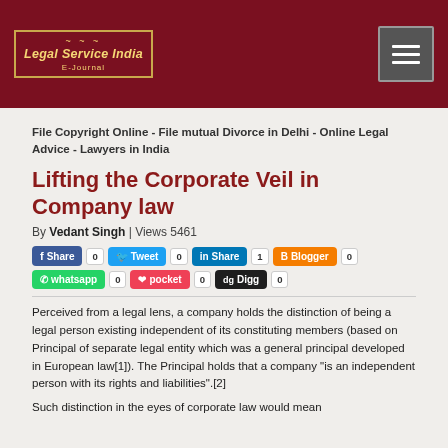[Figure (logo): Legal Service India E-Journal logo in gold/yellow on dark red background, with decorative border]
File Copyright Online - File mutual Divorce in Delhi - Online Legal Advice - Lawyers in India
Lifting the Corporate Veil in Company law
By Vedant Singh | Views 5461
Share 0 | Tweet 0 | Share 1 | Blogger 0 | whatsapp 0 | pocket 0 | Digg 0
Perceived from a legal lens, a company holds the distinction of being a legal person existing independent of its constituting members (based on Principal of separate legal entity which was a general principal developed in European law[1]). The Principal holds that a company "is an independent person with its rights and liabilities".[2]
Such distinction in the eyes of corporate law would mean